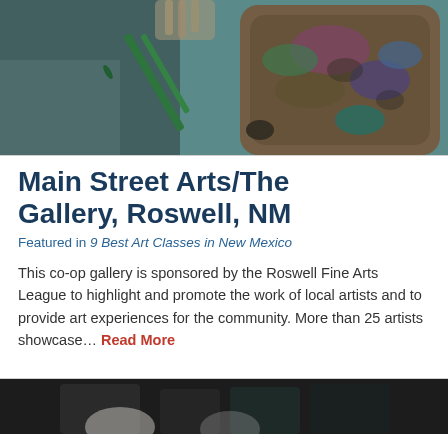[Figure (photo): Close-up photo of an artist's hand holding a paintbrush near a canvas, with a paint-covered wooden palette visible in the background]
Main Street Arts/The Gallery, Roswell, NM
Featured in 9 Best Art Classes in New Mexico
This co-op gallery is sponsored by the Roswell Fine Arts League to highlight and promote the work of local artists and to provide art experiences for the community. More than 25 artists showcase… Read More
[Figure (photo): Partial photo at the bottom of the page showing dark background with partial view of people]